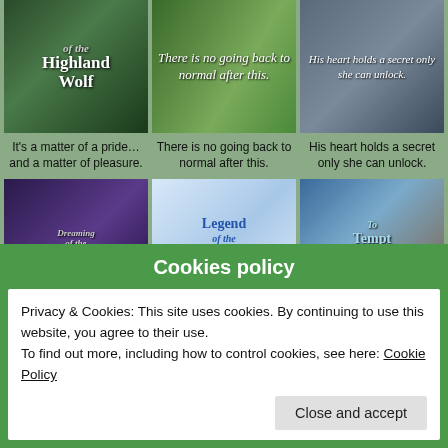[Figure (illustration): Three wolf-themed romance book covers in a row (top): Highland Wolf, a wolf in green field, and a wolf near a house]
It's a matter of a pride…and a matter of pleasure.
There is no going back to normal after this.
His heart holds a secret only she can unlock.
[Figure (illustration): Three wolf-themed romance book covers in a row (bottom): Dreaming of the Wolf, Legend of the White Wolf, To Tempt the Wolf]
Cookies policy
Privacy & Cookies: This site uses cookies. By continuing to use this website, you agree to their use.
To find out more, including how to control cookies, see here: Cookie Policy
Close and accept